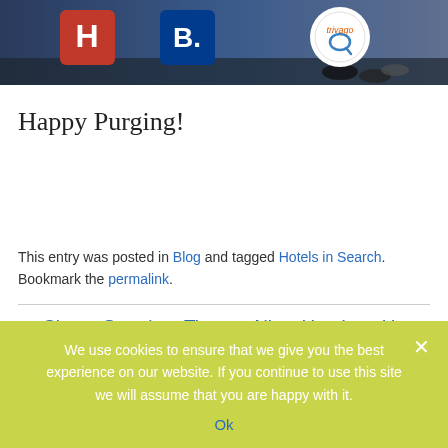[Figure (photo): Header image showing hotel booking app logos (H, B., trivago) on a street background with feet/shoes visible]
Happy Purging!
This entry was posted in Blog and tagged Hotels in Search. Bookmark the permalink.
← C'mon Google – Time to Allow Hotels to Use Google Posts
We use cookies to ensure that we give you the best experience on our website. If you continue to use this site we will assume that you are happy with it.
Ok